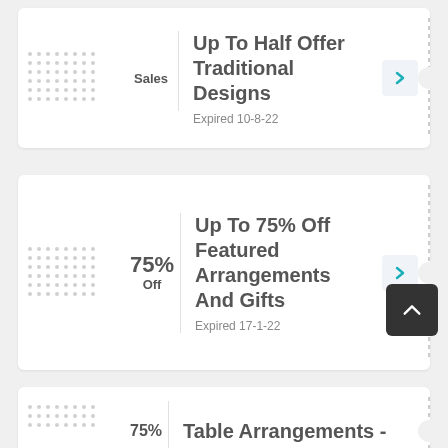Up To Half Offer Traditional Designs
Sales
Expired 10-8-22
Up To 75% Off Featured Arrangements And Gifts
75% Off
Expired 17-1-22
Table Arrangements -